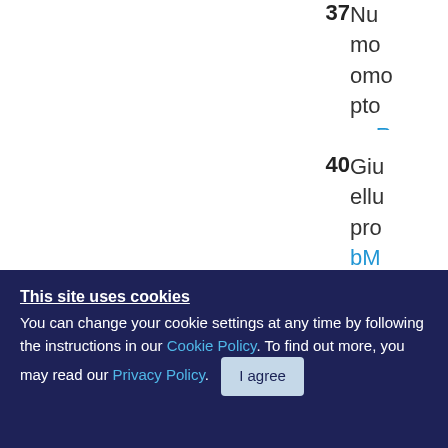37 Nu- mo- omo- pto- r : R...
40 Giu- ellu- pro- bM...
41 Kuc- eas- m N...
This site uses cookies
You can change your cookie settings at any time by following the instructions in our Cookie Policy. To find out more, you may read our Privacy Policy.
I agree